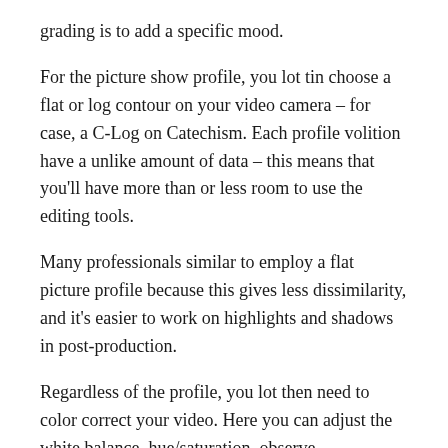grading is to add a specific mood.
For the picture show profile, you lot tin choose a flat or log contour on your video camera – for case, a C-Log on Catechism. Each profile volition have a unlike amount of data – this means that you'll have more than or less room to use the editing tools.
Many professionals similar to employ a flat picture profile because this gives less dissimilarity, and it's easier to work on highlights and shadows in post-production.
Regardless of the profile, you lot then need to color correct your video. Here you can adjust the white balance, hue/saturation, observe complementary colors, etc.
Then, you practice the color grading. This footstep gives character to the scene – that's why the director and the photography director decide the color scheme – so it'south applied by the colorist.
If you do it during a narrating then a gra…